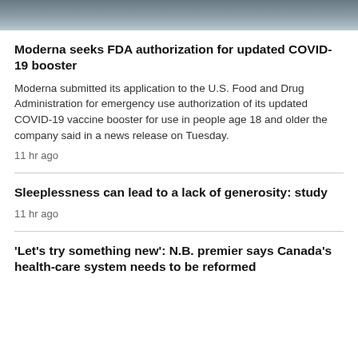[Figure (photo): Partial photo strip at top of page showing a person, cropped]
Moderna seeks FDA authorization for updated COVID-19 booster
Moderna submitted its application to the U.S. Food and Drug Administration for emergency use authorization of its updated COVID-19 vaccine booster for use in people age 18 and older the company said in a news release on Tuesday.
11 hr ago
Sleeplessness can lead to a lack of generosity: study
11 hr ago
'Let's try something new': N.B. premier says Canada's health-care system needs to be reformed